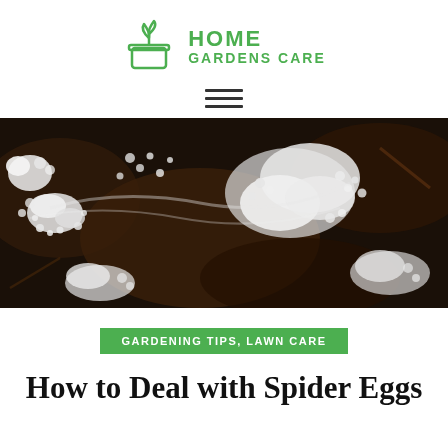HOME GARDENS CARE
[Figure (logo): Home Gardens Care logo with a plant pot icon and green text]
[Figure (other): Hamburger/menu icon with three horizontal lines]
[Figure (photo): Macro photograph of spider eggs on dark soil — tiny white round eggs with white fluffy webbing on dark brown and black substrate]
GARDENING TIPS, LAWN CARE
How to Deal with Spider Eggs in Plant Soil